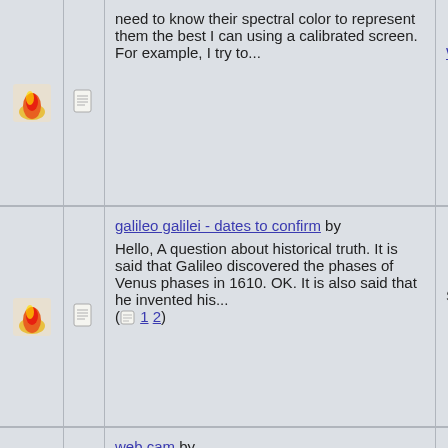need to know their spectral color to represent them the best I can using a calibrated screen. For example, I try to...
by Ernie Wright
galileo galilei - dates to confirm by
Hello, A question about historical truth. It is said that Galileo discovered the phases of Venus phases in 1610. OK. It is also said that he invented his...
( 1 2 )
September 22nd 06 05:00 PM by Brian Tung
web cam by
Is it possible to hook up a web cam so I can run the scope remotely and still see some images? I'm wanting to sit in my warm house, as compared to the 10...
December 26th 04 06:36 PM by
Sky charts by
What's your favorite
December 20th 04 06:58 PM